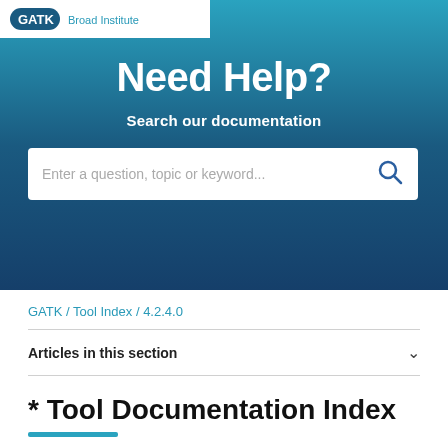[Figure (logo): GATK logo/header banner with teal-to-dark-blue gradient background]
Need Help?
Search our documentation
[Figure (screenshot): Search input box with placeholder text: Enter a question, topic or keyword... and a search icon]
GATK / Tool Index / 4.2.4.0
Articles in this section
* Tool Documentation Index